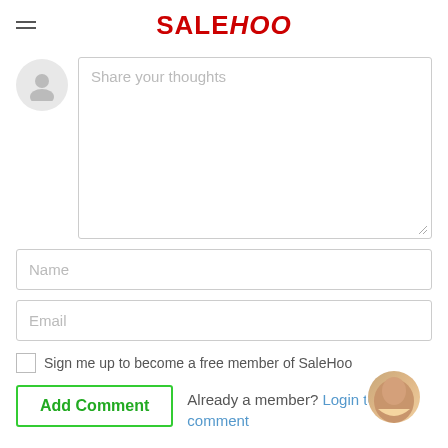SALEHOO
[Figure (other): Comment text area with placeholder text 'Share your thoughts' and a user avatar icon to the left]
Name
Email
Sign me up to become a free member of SaleHoo
Add Comment  Already a member? Login to comment